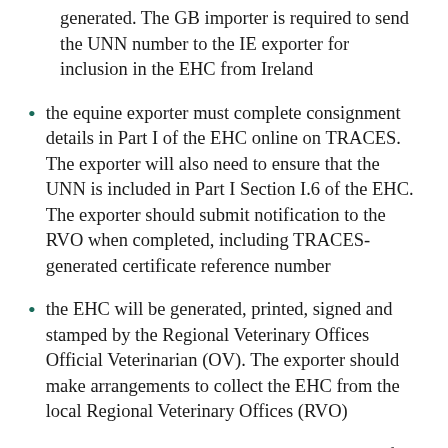generated. The GB importer is required to send the UNN number to the IE exporter for inclusion in the EHC from Ireland
the equine exporter must complete consignment details in Part I of the EHC online on TRACES. The exporter will also need to ensure that the UNN is included in Part I Section I.6 of the EHC. The exporter should submit notification to the RVO when completed, including TRACES-generated certificate reference number
the EHC will be generated, printed, signed and stamped by the Regional Veterinary Offices Official Veterinarian (OV). The exporter should make arrangements to collect the EHC from the local Regional Veterinary Offices (RVO)
the IE exporter should email a scanned copy of the